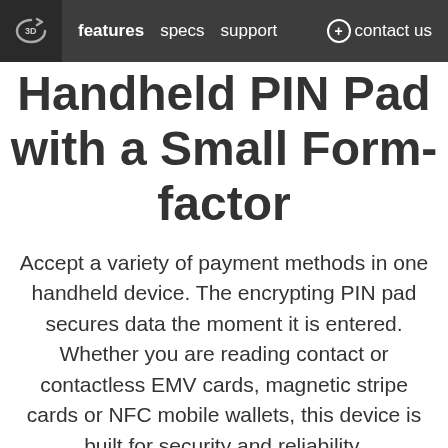features  specs  support  + contact us
Handheld PIN Pad with a Small Form-factor
Accept a variety of payment methods in one handheld device. The encrypting PIN pad secures data the moment it is entered. Whether you are reading contact or contactless EMV cards, magnetic stripe cards or NFC mobile wallets, this device is built for security and reliability.